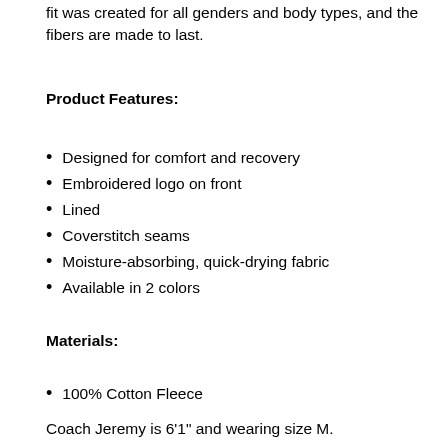fit was created for all genders and body types, and the fibers are made to last.
Product Features:
Designed for comfort and recovery
Embroidered logo on front
Lined
Coverstitch seams
Moisture-absorbing, quick-drying fabric
Available in 2 colors
Materials:
100% Cotton Fleece
Coach Jeremy is 6'1" and wearing size M.